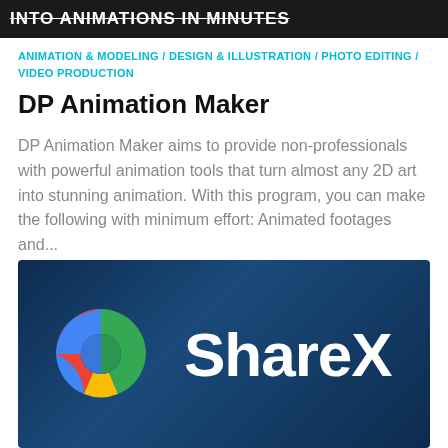INTO ANIMATIONS IN MINUTES
ANIMATION & MODELING / DESIGN & ILLUSTRATION / PHOTO EDITING / VIDEO PRODUCTION
DP Animation Maker
DP Animation Maker aims to provide non-professionals with powerful animation tools that turn almost any 2D art into stunning animation. With this program, you can make the following with minimum effort: Animated footages and...
[Figure (logo): ShareX logo on dark blue gradient background with colorful swirl icon and white ShareX text]